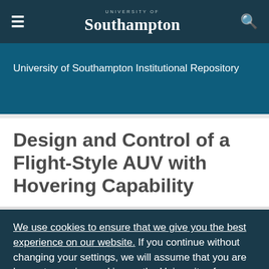University of Southampton
University of Southampton Institutional Repository
Design and Control of a Flight-Style AUV with Hovering Capability
We use cookies to ensure that we give you the best experience on our website. If you continue without changing your settings, we will assume that you are happy to receive cookies on the University of Southampton